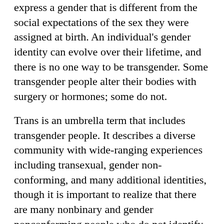express a gender that is different from the social expectations of the sex they were assigned at birth. An individual's gender identity can evolve over their lifetime, and there is no one way to be transgender. Some transgender people alter their bodies with surgery or hormones; some do not.
Trans is an umbrella term that includes transgender people. It describes a diverse community with wide-ranging experiences including transexual, gender non-conforming, and many additional identities, though it is important to realize that there are many nonbinary and gender nonconforming people who do not identify as trans. The trans community is a part of the larger LGBTQIA+ community.
Transphobia / Transantagonism
Transphobia is prejudice, antagonism, or discrimination against transgender people. Transantagonism includes